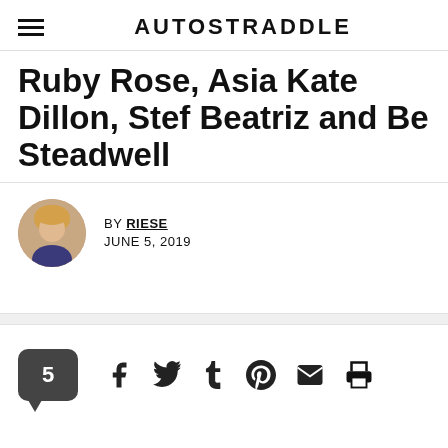AUTOSTRADDLE
Ruby Rose, Asia Kate Dillon, Stef Beatriz and Be Steadwell
BY RIESE
JUNE 5, 2019
[Figure (infographic): Social sharing bar with comment count badge (5) and icons: Facebook, Twitter, Tumblr, Pinterest, Email, Print]